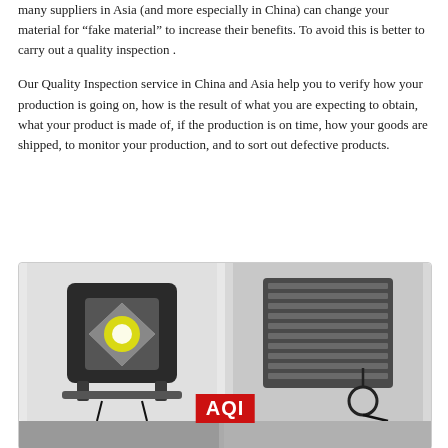many suppliers in Asia (and more especially in China) can change your material for "fake material" to increase their benefits. To avoid this is better to carry out a quality inspection .
Our Quality Inspection service in China and Asia help you to verify how your production is going on, how is the result of what you are expecting to obtain, what your product is made of, if the production is on time, how your goods are shipped, to monitor your production, and to sort out defective products.
[Figure (photo): Two photos side by side showing LED flood lights: left image shows a black square LED flood light fixture from the front with a bright LED chip visible; right image shows the back/heat-sink side of the same fixture along with a cable. AQI logo (red background, white text) visible at bottom center. A third partial image is visible at the very bottom.]